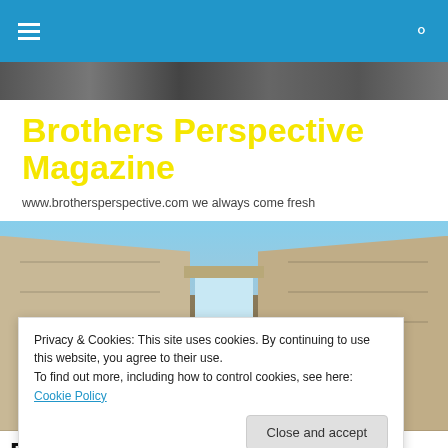[Figure (screenshot): Blue navigation bar with hamburger menu icon on left and search icon on right]
[Figure (photo): Grayscale banner photo at top of website header]
Brothers Perspective Magazine
www.brothersperspective.com we always come fresh
[Figure (photo): Photograph of an ancient Egyptian temple with large stone walls and a doorway, blue sky visible in background]
Privacy & Cookies: This site uses cookies. By continuing to use this website, you agree to their use.
To find out more, including how to control cookies, see here: Cookie Policy
Close and accept
Entertainment Work " prod by